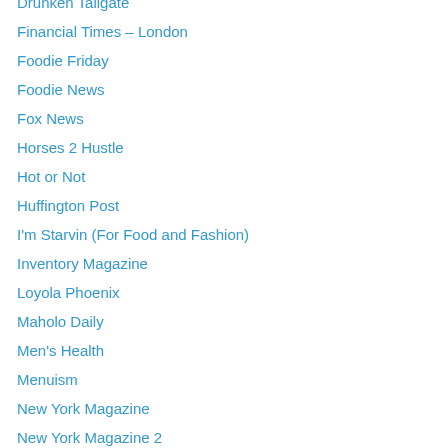Drunken Tailgate
Financial Times – London
Foodie Friday
Foodie News
Fox News
Horses 2 Hustle
Hot or Not
Huffington Post
I'm Starvin (For Food and Fashion)
Inventory Magazine
Loyola Phoenix
Maholo Daily
Men's Health
Menuism
New York Magazine
New York Magazine 2
New York Magazine 3
Newsweek
NY Post